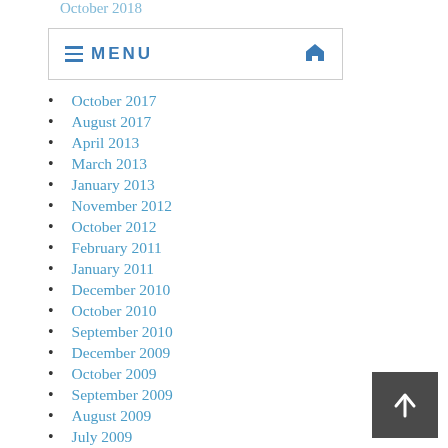≡ MENU 🏠
October 2017
August 2017
April 2013
March 2013
January 2013
November 2012
October 2012
February 2011
January 2011
December 2010
October 2010
September 2010
December 2009
October 2009
September 2009
August 2009
July 2009